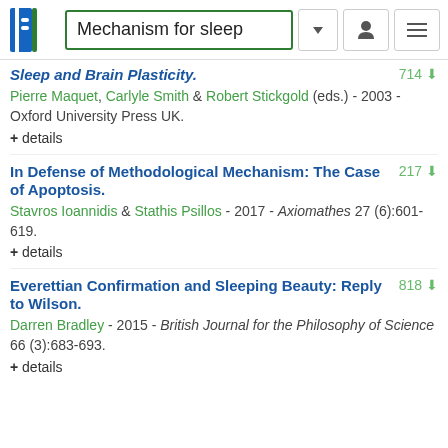Mechanism for sleep
Sleep and Brain Plasticity. 714
Pierre Maquet, Carlyle Smith & Robert Stickgold (eds.) - 2003 - Oxford University Press UK.
+ details
In Defense of Methodological Mechanism: The Case of Apoptosis. 217
Stavros Ioannidis & Stathis Psillos - 2017 - Axiomathes 27 (6):601-619.
+ details
Everettian Confirmation and Sleeping Beauty: Reply to Wilson. 818
Darren Bradley - 2015 - British Journal for the Philosophy of Science 66 (3):683-693.
+ details